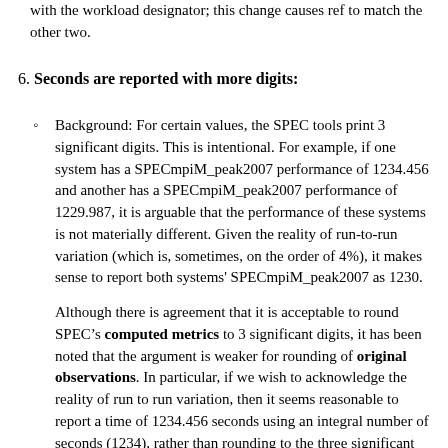with the workload designator; this change causes ref to match the other two.
6. Seconds are reported with more digits:
Background: For certain values, the SPEC tools print 3 significant digits. This is intentional. For example, if one system has a SPECmpiM_peak2007 performance of 1234.456 and another has a SPECmpiM_peak2007 performance of 1229.987, it is arguable that the performance of these systems is not materially different. Given the reality of run-to-run variation (which is, sometimes, on the order of 4%), it makes sense to report both systems' SPECmpiM_peak2007 as 1230.
Although there is agreement that it is acceptable to round SPEC’s computed metrics to 3 significant digits, it has been noted that the argument is weaker for rounding of original observations. In particular, if we wish to acknowledge the reality of run to run variation, then it seems reasonable to report a time of 1234.456 seconds using an integral number of seconds (1234), rather than rounding to the three significant digits, which in this case would be rounding to the